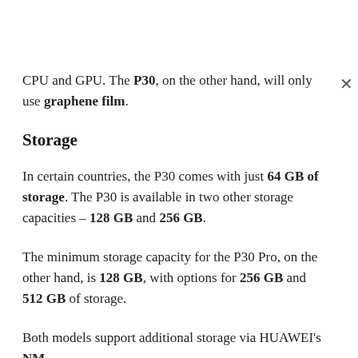CPU and GPU. The P30, on the other hand, will only use graphene film.
Storage
In certain countries, the P30 comes with just 64 GB of storage. The P30 is available in two other storage capacities – 128 GB and 256 GB.
The minimum storage capacity for the P30 Pro, on the other hand, is 128 GB, with options for 256 GB and 512 GB of storage.
Both models support additional storage via HUAWEI's NM